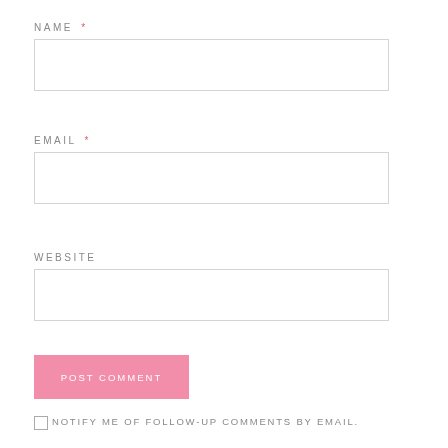NAME *
[Figure (other): Empty text input field for Name]
EMAIL *
[Figure (other): Empty text input field for Email]
WEBSITE
[Figure (other): Empty text input field for Website]
POST COMMENT
NOTIFY ME OF FOLLOW-UP COMMENTS BY EMAIL.
NOTIFY ME OF NEW POSTS BY EMAIL.